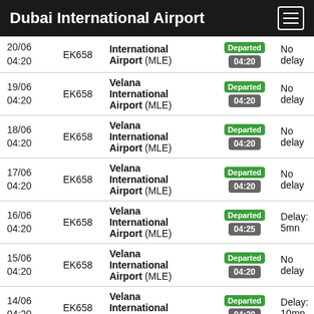Dubai International Airport
| Date/Time | Flight | Destination | Status | Delay |
| --- | --- | --- | --- | --- |
| 20/06 04:20 | EK658 | International Airport (MLE) | Departed 04:20 | No delay |
| 19/06 04:20 | EK658 | Velana International Airport (MLE) | Departed 04:20 | No delay |
| 18/06 04:20 | EK658 | Velana International Airport (MLE) | Departed 04:20 | No delay |
| 17/06 04:20 | EK658 | Velana International Airport (MLE) | Departed 04:20 | No delay |
| 16/06 04:20 | EK658 | Velana International Airport (MLE) | Departed 04:25 | Delay: 5mn |
| 15/06 04:20 | EK658 | Velana International Airport (MLE) | Departed 04:20 | No delay |
| 14/06 04:20 | EK658 | Velana International Airport (MLE) | Departed 04:30 | Delay: 10mn |